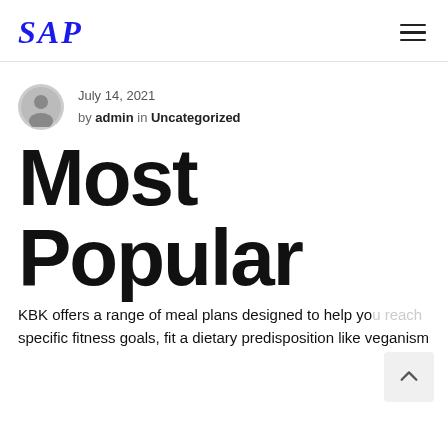SAP
July 14, 2021 by admin in Uncategorized
Most Popular
KBK offers a range of meal plans designed to help you reach specific fitness goals, fit a dietary predisposition like veganism